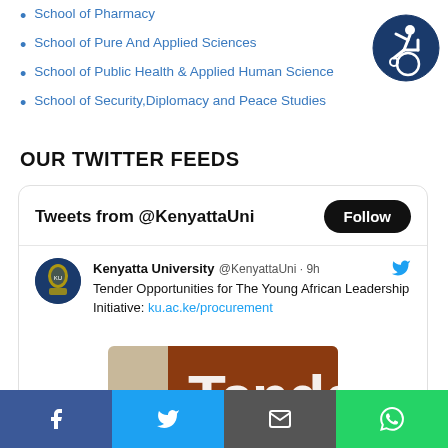School of Pharmacy
School of Pure And Applied Sciences
School of Public Health & Applied Human Science
School of Security,Diplomacy and Peace Studies
OUR TWITTER FEEDS
Tweets from @KenyattaUni
Kenyatta University @KenyattaUni · 9h
Tender Opportunities for The Young African Leadership Initiative: ku.ac.ke/procurement
[Figure (screenshot): Tender document image showing the word 'Tenders' on a brown background with a document below]